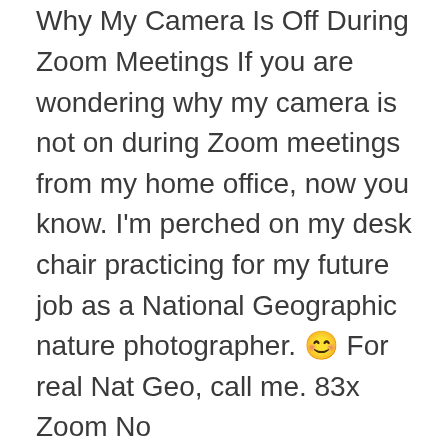Why My Camera Is Off During Zoom Meetings If you are wondering why my camera is not on during Zoom meetings from my home office, now you know. I'm perched on my desk chair practicing for my future job as a National Geographic nature photographer. 😊 For real Nat Geo, call me. 83x Zoom No...